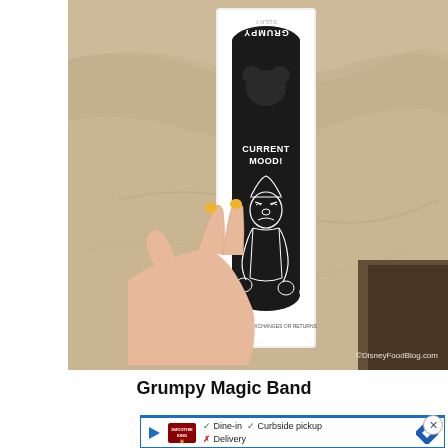[Figure (photo): A hand with yellow nail polish holding a black Disney MagicBand (Grumpy themed) still in its packaging. The band reads 'GRUMPY' and 'SULKY' at top (upside down visible), 'CURRENT MOOD!' on the band face, with a line-art drawing of Grumpy dwarf. The packaging shows 'NO REFUNDS, EXCHANGES OR RETURNS'. A watermark reads '©DisneyFoodBlog.com'. Background is a marble/stone countertop surface.]
Grumpy Magic Band
[Figure (screenshot): An advertisement banner for Smoothie King showing: a play icon, Smoothie King logo, checkmarks for Dine-in and Curbside pickup, an X for Delivery, and a blue diamond navigation icon. There is also a close button (X in circle) on the right.]